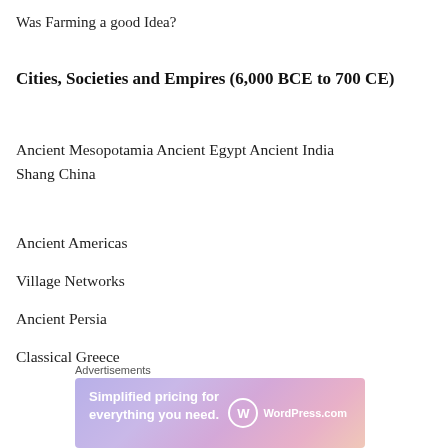Was Farming a good Idea?
Cities, Societies and Empires (6,000 BCE to 700 CE)
Ancient Mesopotamia Ancient Egypt Ancient India Shang China
Ancient Americas
Village Networks
Ancient Persia
Classical Greece
Long Distance Trade
[Figure (other): WordPress.com advertisement banner: 'Simplified pricing for everything you need.' with WordPress.com logo on gradient purple-pink background]